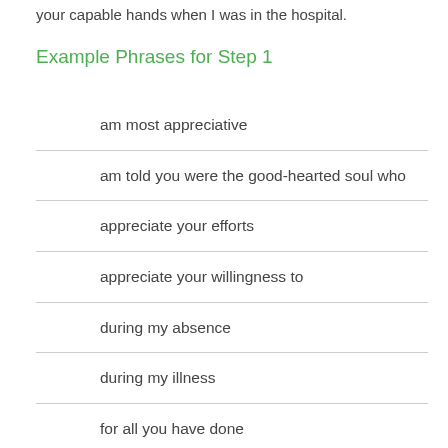your capable hands when I was in the hospital.
Example Phrases for Step 1
am most appreciative
am told you were the good-hearted soul who
appreciate your efforts
appreciate your willingness to
during my absence
during my illness
for all you have done
for covering for me